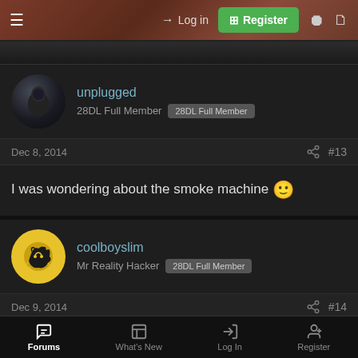Log in  Register
unplugged
28DL Full Member  28DL Full Member
Dec 8, 2014  #13
I was wondering about the smoke machine 🙂
coolboyslim
Mr Reality Hacker  28DL Full Member
Dec 9, 2014  #14
Went to have a nosey at this recently has never done a cinema. And
Forums  What's New  Log In  Register